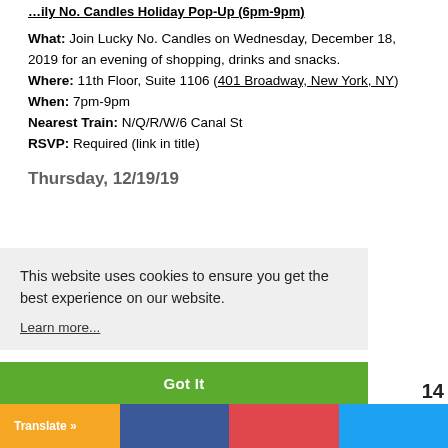...ily No. Candles Holiday Pop-Up (6pm-9pm)
What: Join Lucky No. Candles on Wednesday, December 18, 2019 for an evening of shopping, drinks and snacks.
Where: 11th Floor, Suite 1106 (401 Broadway, New York, NY)
When: 7pm-9pm
Nearest Train: N/Q/R/W/6 Canal St
RSVP: Required (link in title)
Thursday, 12/19/19
This website uses cookies to ensure you get the best experience on our website.
Learn more...
Got It
Translate »
14 SHARES